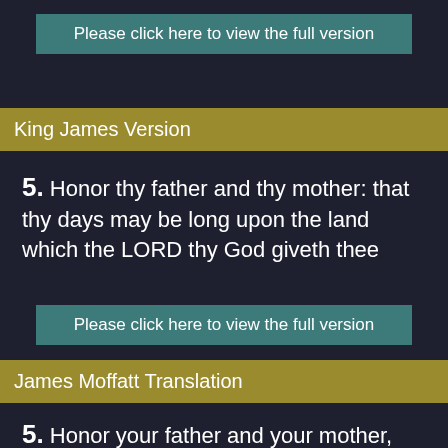Please click here to view the full version
King James Version
5. Honor thy father and thy mother: that thy days may be long upon the land which the LORD thy God giveth thee
Please click here to view the full version
James Moffatt Translation
5. Honor your father and your mother, that you may have a long life in the land which the Eternal your God is giving you